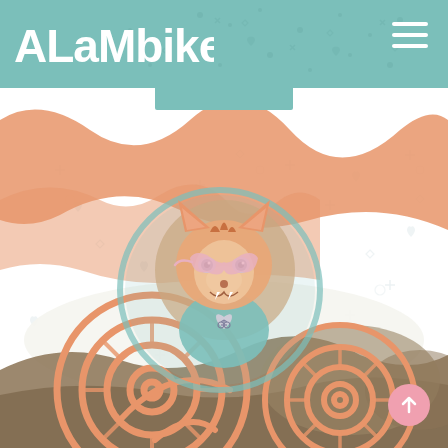[Figure (logo): ALaMbike logo in white bold text on teal header bar]
[Figure (illustration): Colorful illustrated webpage screenshot featuring a cartoon fox mascot wearing a pink superhero mask and holding a heart with bicycle logo, surrounded by orange wavy hills, dark rocky ground at bottom, decorative spiral bicycle wheel graphics in orange, teal circle frame around fox, and small pattern symbols (hearts, crosses, diamonds) scattered throughout the background]